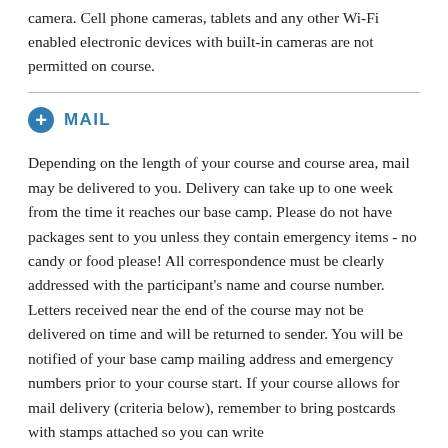camera. Cell phone cameras, tablets and any other Wi-Fi enabled electronic devices with built-in cameras are not permitted on course.
MAIL
Depending on the length of your course and course area, mail may be delivered to you. Delivery can take up to one week from the time it reaches our base camp. Please do not have packages sent to you unless they contain emergency items - no candy or food please! All correspondence must be clearly addressed with the participant's name and course number. Letters received near the end of the course may not be delivered on time and will be returned to sender. You will be notified of your base camp mailing address and emergency numbers prior to your course start. If your course allows for mail delivery (criteria below), remember to bring postcards with stamps attached so you can write